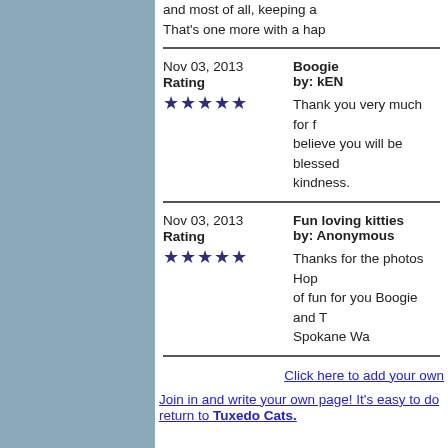and most of all, keeping a... That's one more with a ha...
Nov 03, 2013
Rating
★★★★★
Boogie
by: kEN
Thank you very much for f... believe you will be blessed... kindness.
Nov 03, 2013
Rating
★★★★★
Fun loving kitties
by: Anonymous
Thanks for the photos Hop... of fun for you Boogie and T... Spokane Wa
Click here to add your own
Join in and write your own page! It's easy to do... return to Tuxedo Cats.